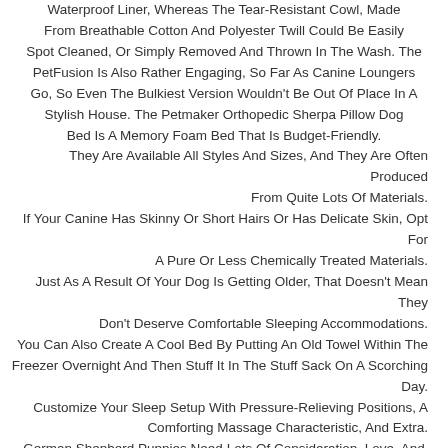Waterproof Liner, Whereas The Tear-Resistant Cowl, Made From Breathable Cotton And Polyester Twill Could Be Easily Spot Cleaned, Or Simply Removed And Thrown In The Wash. The PetFusion Is Also Rather Engaging, So Far As Canine Loungers Go, So Even The Bulkiest Version Wouldn't Be Out Of Place In A Stylish House. The Petmaker Orthopedic Sherpa Pillow Dog Bed Is A Memory Foam Bed That Is Budget-Friendly. They Are Available All Styles And Sizes, And They Are Often Produced From Quite Lots Of Materials. If Your Canine Has Skinny Or Short Hairs Or Has Delicate Skin, Opt For A Pure Or Less Chemically Treated Materials. Just As A Result Of Your Dog Is Getting Older, That Doesn't Mean They Don't Deserve Comfortable Sleeping Accommodations. You Can Also Create A Cool Bed By Putting An Old Towel Within The Freezer Overnight And Then Stuff It In The Stuff Sack On A Scorching Day. Customize Your Sleep Setup With Pressure-Relieving Positions, A Comforting Massage Characteristic, And Extra. German Shepherd Puppies Need Lots Of Consideration, Love, And The Proper Coaching.